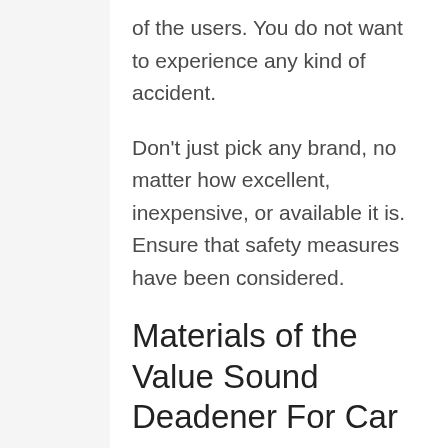of the users. You do not want to experience any kind of accident.
Don't just pick any brand, no matter how excellent, inexpensive, or available it is. Ensure that safety measures have been considered.
Materials of the Value Sound Deadener For Car
We advise not to buy products from brands that don't specify the materials they use unless we're sure the product is made with good quality materials. It's important to be